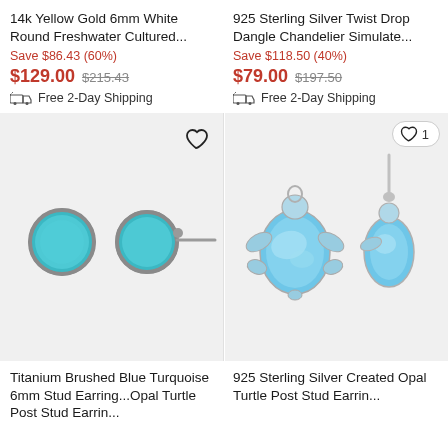14k Yellow Gold 6mm White Round Freshwater Cultured...
925 Sterling Silver Twist Drop Dangle Chandelier Simulate...
Save $86.43 (60%)
Save $118.50 (40%)
$129.00  $215.43  Free 2-Day Shipping
$79.00  $197.50  Free 2-Day Shipping
[Figure (photo): Titanium Brushed Blue Turquoise 6mm Stud Earring - small round turquoise stud earring shown from front and side on light gray background]
[Figure (photo): 925 Sterling Silver Created Opal Turtle Post Stud Earring - blue opal turtle shaped earring shown from front and side on light gray background]
Titanium Brushed Blue Turquoise 6mm Stud Earring...
925 Sterling Silver Created Opal Turtle Post Stud Earrin...